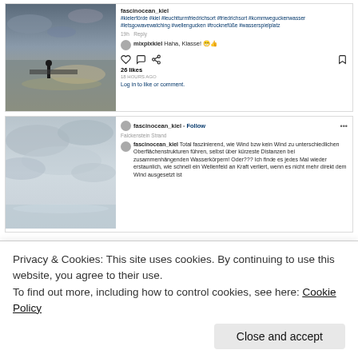[Figure (screenshot): Instagram post 1: beach/waterfront photo with silhouette of person near water, evening sky]
fascinocean_kiel #kielerförde #kiel #leuchtturmfriedrichsort #friedrichsort #kommweguckenwasser #letsgowavewatching #wellengucken #trocknefüße #wasserspielplatz
19h Reply
mixpixkiel Haha, Klasse! 😁👍
26 likes
18 HOURS AGO
Log in to like or comment.
[Figure (screenshot): Instagram post 2: sky/cloud photo with calm water surface, showing wind effect on water]
fascinocean_kiel • Follow
Falckenstein Strand
fascinocean_kiel Total faszinierend, wie Wind bzw kein Wind zu unterschiedlichen Oberflächenstrukturen führen, selbst über kürzeste Distanzen bei zusammenhängenden Wasserkörpern! Oder??? Ich finde es jedes Mal wieder erstaunlich, wie schnell ein Wellenfeld an Kraft verliert, wenn es nicht mehr direkt dem Wind ausgesetzt ist
Privacy & Cookies: This site uses cookies. By continuing to use this website, you agree to their use.
To find out more, including how to control cookies, see here: Cookie Policy
Close and accept